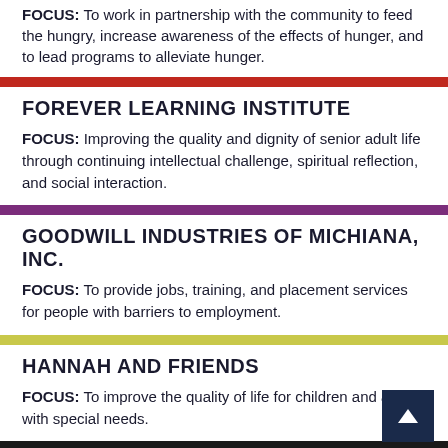FOCUS: To work in partnership with the community to feed the hungry, increase awareness of the effects of hunger, and to lead programs to alleviate hunger.
FOREVER LEARNING INSTITUTE
FOCUS: Improving the quality and dignity of senior adult life through continuing intellectual challenge, spiritual reflection, and social interaction.
GOODWILL INDUSTRIES OF MICHIANA, INC.
FOCUS: To provide jobs, training, and placement services for people with barriers to employment.
HANNAH AND FRIENDS
FOCUS: To improve the quality of life for children and adults with special needs.
HANNAH'S HOUSE
FOCUS: We empower pregnant women, facing homelessness, begin a process of transformation.